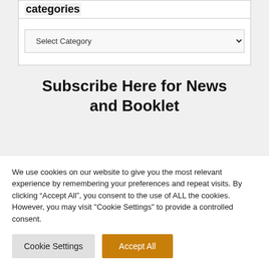categories
Select Category
Subscribe Here for News and Booklet
We use cookies on our website to give you the most relevant experience by remembering your preferences and repeat visits. By clicking “Accept All”, you consent to the use of ALL the cookies. However, you may visit "Cookie Settings" to provide a controlled consent.
Cookie Settings
Accept All